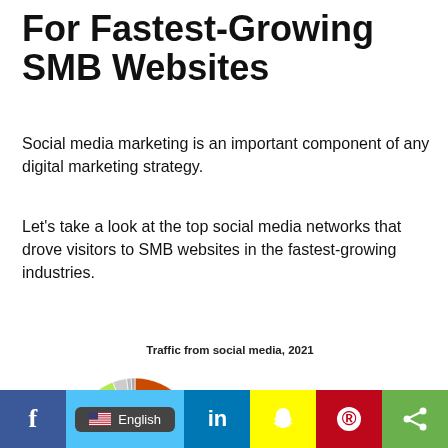For Fastest-Growing SMB Websites
Social media marketing is an important component of any digital marketing strategy.
Let's take a look at the top social media networks that drove visitors to SMB websites in the fastest-growing industries.
[Figure (donut-chart): Donut chart showing traffic from social media for Pharmaceuticals, 2021. Center label: Pharmaceuticals.]
f  [English]  in  [Snapchat]  [Pinterest]  [Share]